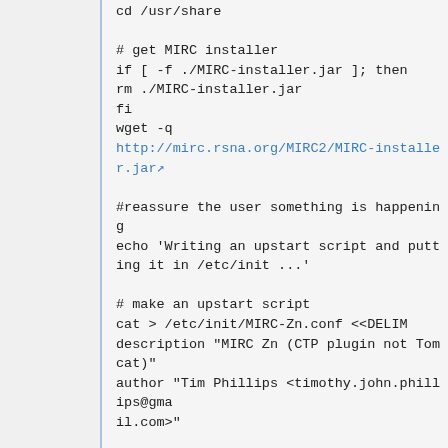cd /usr/share

# get MIRC installer
if [ -f ./MIRC-installer.jar ]; then
rm ./MIRC-installer.jar
fi
wget -q
http://mirc.rsna.org/MIRC2/MIRC-installer.jar

#reassure the user something is happening
echo 'Writing an upstart script and putting it in /etc/init ...'

# make an upstart script
cat > /etc/init/MIRC-Zn.conf <<DELIM
description "MIRC Zn (CTP plugin not Tomcat)"
author "Tim Phillips <timothy.john.phillips@gmail.com>"